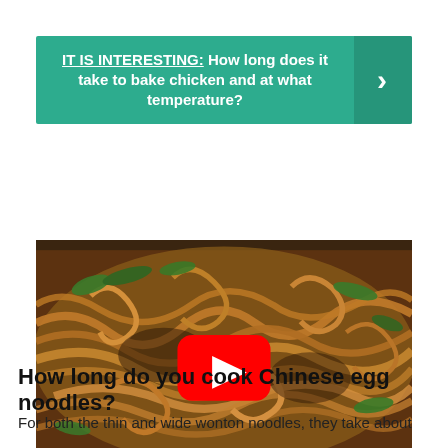IT IS INTERESTING:  How long does it take to bake chicken and at what temperature?
[Figure (photo): Close-up photo of Chinese egg noodles stir-fried with green vegetables, with a YouTube play button overlay in the center.]
How long do you cook Chinese egg noodles?
For both the thin and wide wonton noodles, they take about 30 to 40 seconds to cook and should be drained before frying